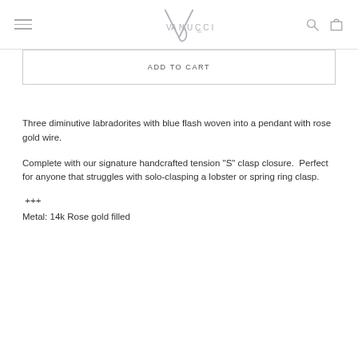VANUCCI logo with hamburger menu, search icon, and cart icon
ADD TO CART
Three diminutive labradorites with blue flash woven into a pendant with rose gold wire.
Complete with our signature handcrafted tension "S" clasp closure.  Perfect for anyone that struggles with solo-clasping a lobster or spring ring clasp.
+++
Metal: 14k Rose gold filled